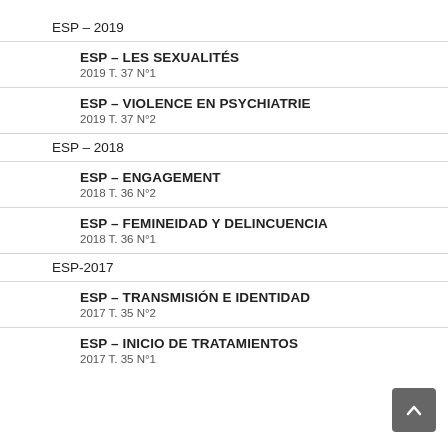ESP – 2019
ESP – LES SEXUALITÉS
2019 T. 37 N°1
ESP – VIOLENCE EN PSYCHIATRIE
2019 T. 37 N°2
ESP – 2018
ESP – ENGAGEMENT
2018 T. 36 N°2
ESP – FEMINEIDAD Y DELINCUENCIA
2018 T. 36 N°1
ESP-2017
ESP – TRANSMISIÓN E IDENTIDAD
2017 T. 35 N°2
ESP – INICIO DE TRATAMIENTOS
2017 T. 35 N°1